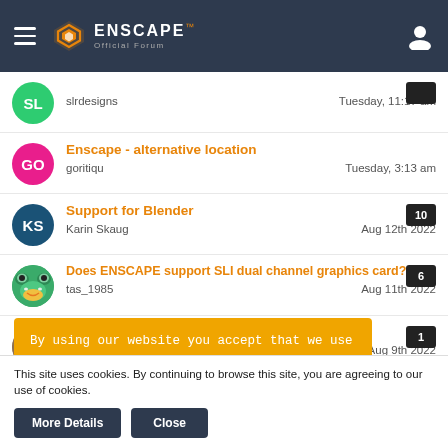ENSCAPE Official Forum
slrdesigns — Tuesday, 11:17 am
Enscape - alternative location — goritiqu — Tuesday, 3:13 am
Support for Blender — Karin Skaug — Aug 12th 2022 — replies: 10
Does ENSCAPE support SLI dual channel graphics card? — tas_1985 — Aug 11th 2022 — replies: 6
Maximum size of the lights — Aug 9th 2022 — replies: 1
By using our website you accept that we use cookies to track usage and improve the relevancy of ads and may
This site uses cookies. By continuing to browse this site, you are agreeing to our use of cookies.
More Details   Close